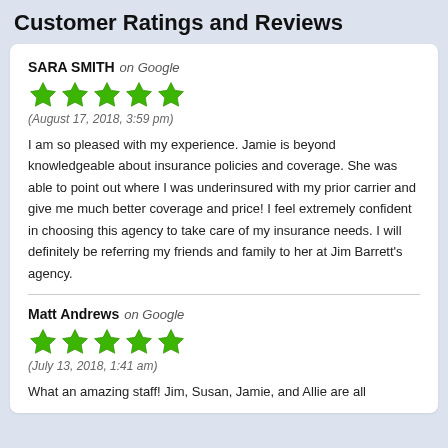Customer Ratings and Reviews
SARA SMITH on Google
(August 17, 2018, 3:59 pm)
I am so pleased with my experience. Jamie is beyond knowledgeable about insurance policies and coverage. She was able to point out where I was underinsured with my prior carrier and give me much better coverage and price! I feel extremely confident in choosing this agency to take care of my insurance needs. I will definitely be referring my friends and family to her at Jim Barrett's agency.
Matt Andrews on Google
(July 13, 2018, 1:41 am)
What an amazing staff! Jim, Susan, Jamie, and Allie are all